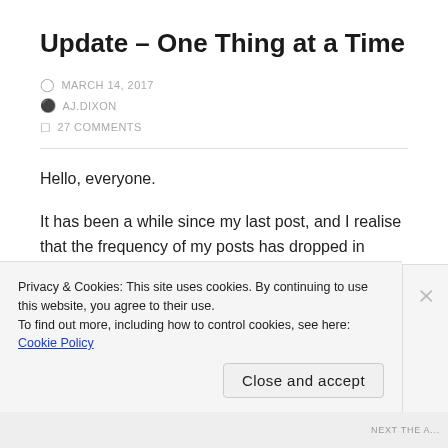Update – One Thing at a Time
MARCH 14, 2017
AJ.DIXON
27 COMMENTS
Hello, everyone.

It has been a while since my last post, and I realise that the frequency of my posts has dropped in recent months. There is a very clear and simple
Privacy & Cookies: This site uses cookies. By continuing to use this website, you agree to their use.
To find out more, including how to control cookies, see here: Cookie Policy
Close and accept